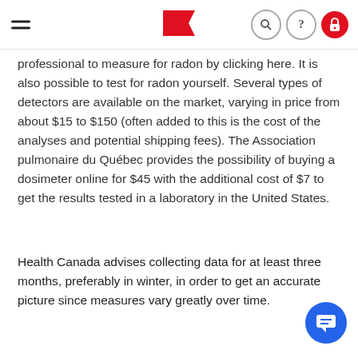Navigation bar with hamburger menu, red logo, search, help, and lock icons
professional to measure for radon by clicking here. It is also possible to test for radon yourself. Several types of detectors are available on the market, varying in price from about $15 to $150 (often added to this is the cost of the analyses and potential shipping fees). The Association pulmonaire du Québec provides the possibility of buying a dosimeter online for $45 with the additional cost of $7 to get the results tested in a laboratory in the United States.
Health Canada advises collecting data for at least three months, preferably in winter, in order to get an accurate picture since measures vary greatly over time.